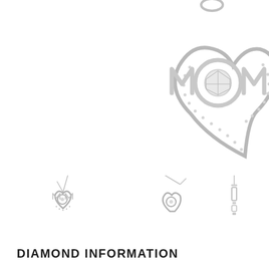[Figure (photo): Close-up of a sterling silver MOM heart pendant necklace with diamond accent in the center circle and pavé diamonds along the heart outline, on white background. Shown cropped in upper right.]
[Figure (photo): Three thumbnail views of the same MOM heart pendant necklace: front view on chain, angled view on chain, and side profile view.]
DIAMOND INFORMATION